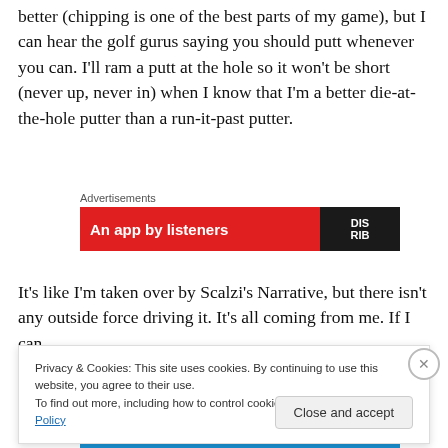better (chipping is one of the best parts of my game), but I can hear the golf gurus saying you should putt whenever you can. I'll ram a putt at the hole so it won't be short (never up, never in) when I know that I'm a better die-at-the-hole putter than a run-it-past putter.
[Figure (other): Advertisement banner with red background showing 'An app by listeners' text and a dark logo/badge on the right side]
It's like I'm taken over by Scalzi's Narrative, but there isn't any outside force driving it. It's all coming from me. If I can
Privacy & Cookies: This site uses cookies. By continuing to use this website, you agree to their use.
To find out more, including how to control cookies, see here: Cookie Policy
Close and accept